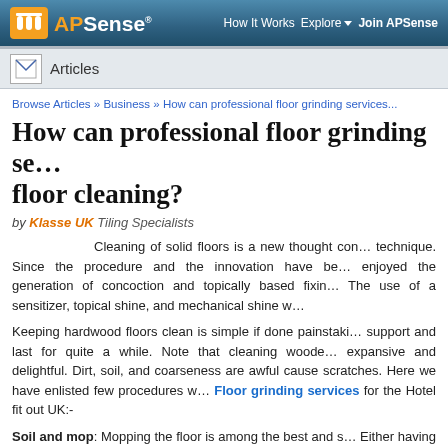APSense | How It Works | Explore | Join APSense
Articles
Browse Articles » Business » How can professional floor grinding services...
How can professional floor grinding services help floor cleaning?
by Klasse UK Tiling Specialists
Cleaning of solid floors is a new thought combined technique. Since the procedure and the innovation have been enjoyed the generation of concoction and topically based fixing. The use of a sensitizer, topical shine, and mechanical shine w
Keeping hardwood floors clean is simple if done painstakingly support and last for quite a while. Note that cleaning wooden expansive and delightful. Dirt, soil, and coarseness are awful cause scratches. Here we have enlisted few procedures with Floor grinding services for the Hotel fit out UK:-
Soil and mop: Mopping the floor is among the best and simple Either having it swept or vacuumed more often. After which